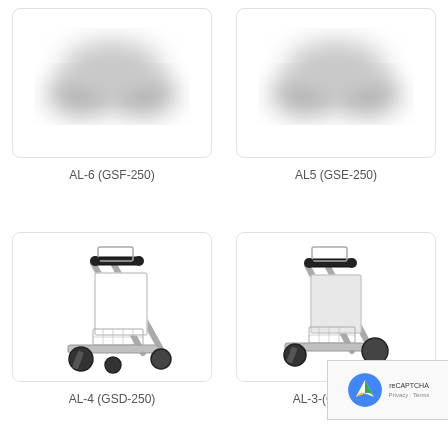[Figure (photo): Blurred/obscured airport luggage trolley cart photo - AL-6 (GSF-250)]
AL-6 (GSF-250)
[Figure (photo): Blurred/obscured airport luggage trolley cart photo - AL5 (GSE-250)]
AL5 (GSE-250)
[Figure (photo): Silver aluminum airport luggage trolley cart with black handles and wheels - AL-4 (GSD-250)]
AL-4 (GSD-250)
[Figure (photo): Silver aluminum airport luggage trolley cart with black handles and wheels - AL-3-(GSP-250)]
AL-3-(GSP-250)